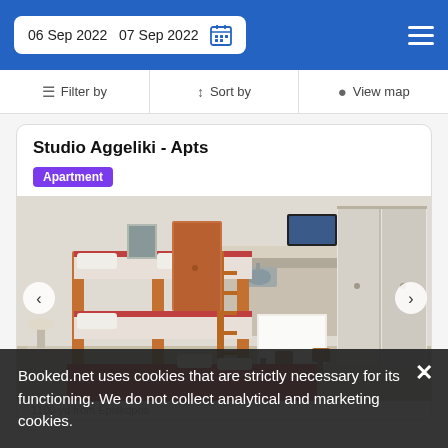06 Sep 2022   07 Sep 2022
Filter by   Sort by   View map
Studio Aggeliki - Apts
Apartment
[Figure (photo): Interior photo of a studio apartment showing bunk beds with red bedding, a small kitchen area with sink, a table with white tablecloth, and white wardrobes]
Booked.net uses cookies that are strictly necessary for its functioning. We do not collect analytical and marketing cookies.
1100 yd from Episkopos